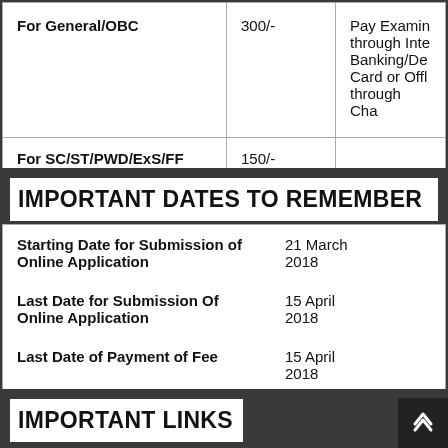| Category | Amount | Payment Mode |
| --- | --- | --- |
| For General/OBC | 300/- | Pay Examin... through Inte... Banking/De... Card or Offl... through Cha... |
| For SC/ST/PWD/ExS/FF | 150/- |  |
IMPORTANT DATES TO REMEMBER
| Event | Date |
| --- | --- |
| Starting Date for Submission of Online Application | 21 March 2018 |
| Last Date for Submission Of Online Application | 15 April 2018 |
| Last Date of Payment of Fee | 15 April 2018 |
IMPORTANT LINKS